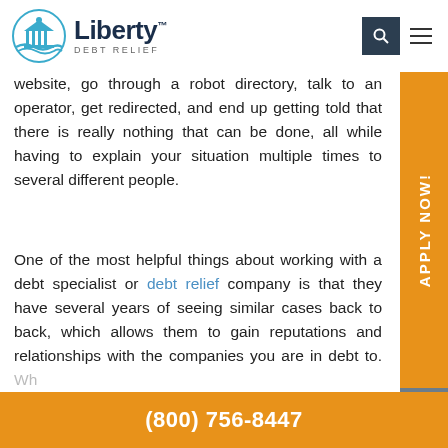[Figure (logo): Liberty Debt Relief logo with building/columns icon and brand name]
website, go through a robot directory, talk to an operator, get redirected, and end up getting told that there is really nothing that can be done, all while having to explain your situation multiple times to several different people.
One of the most helpful things about working with a debt specialist or debt relief company is that they have several years of seeing similar cases back to back, which allows them to gain reputations and relationships with the companies you are in debt to. When you contact their in-house team, they will
(800) 756-8447